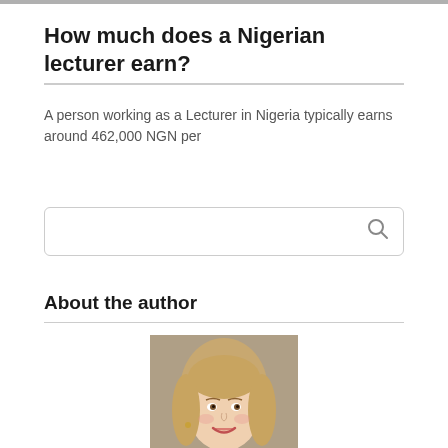How much does a Nigerian lecturer earn?
A person working as a Lecturer in Nigeria typically earns around 462,000 NGN per
[Figure (other): Search box with magnifying glass icon]
About the author
[Figure (photo): Portrait photo of a young woman with long blonde hair, smiling]